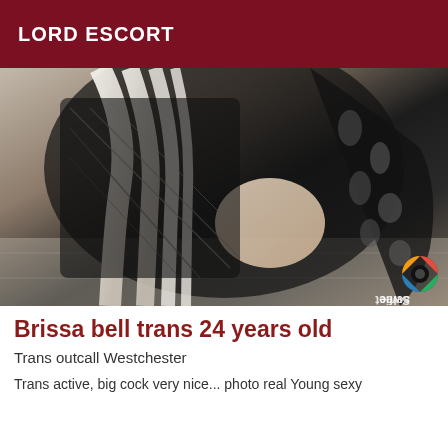LORD ESCORT
[Figure (photo): Person with long blonde hair wearing a black ripped/mesh outfit, taking a selfie. Sweet Selfie app watermark visible in bottom right corner.]
Brissa bell trans 24 years old
Trans outcall Westchester
Trans active, big cock very nice... photo real Young sexy